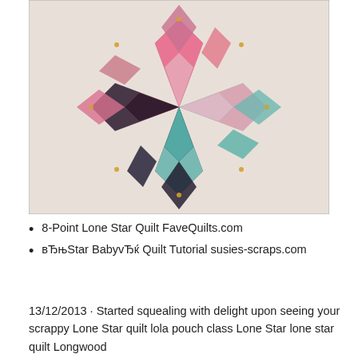[Figure (photo): A star quilt block made from scrappy pink, teal, black, and floral fabric diamonds arranged in an 8-point lone star pattern, photographed on a light surface.]
8-Point Lone Star Quilt FaveQuilts.com
вЂњStar BabyvЂќ Quilt Tutorial susies-scraps.com
13/12/2013 · Started squealing with delight upon seeing your scrappy Lone Star quilt lola pouch class Lone Star lone star quilt Longwood